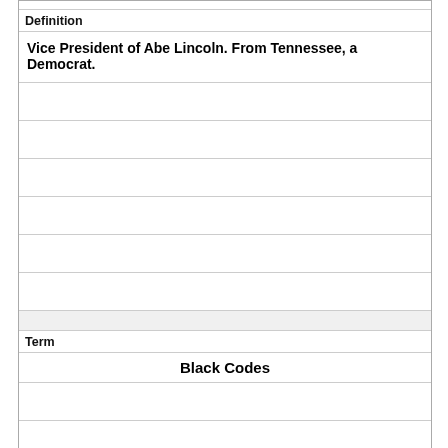| Definition |
| --- |
| Vice President of Abe Lincoln. From Tennessee, a Democrat. |
| Term |
| --- |
| Black Codes |